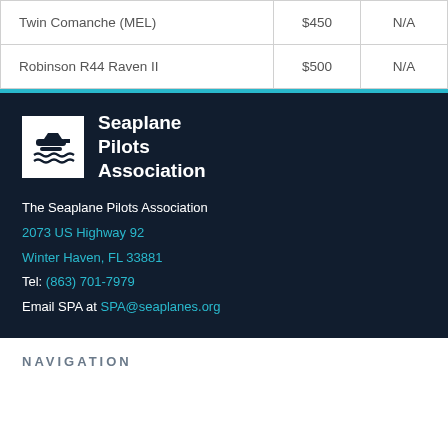| Twin Comanche (MEL) | $450 | N/A |
| Robinson R44 Raven II | $500 | N/A |
[Figure (logo): Seaplane Pilots Association logo — white plane and wave icon on dark background, with text 'Seaplane Pilots Association']
The Seaplane Pilots Association
2073 US Highway 92
Winter Haven, FL 33881
Tel: (863) 701-7979
Email SPA at SPA@seaplanes.org
NAVIGATION